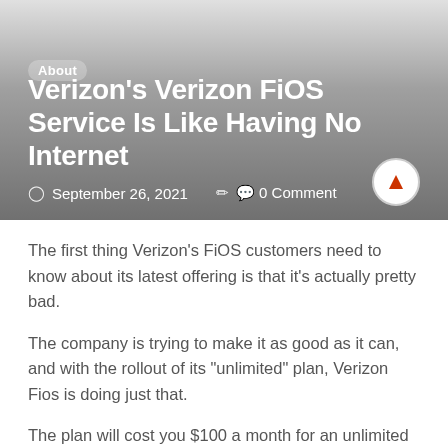[Figure (other): Hero banner with gradient gray background containing article header section]
Verizon’s Verizon FiOS Service Is Like Having No Internet
September 26, 2021  0 Comment
The first thing Verizon’s FiOS customers need to know about its latest offering is that it’s actually pretty bad.
The company is trying to make it as good as it can, and with the rollout of its “unlimited” plan, Verizon Fios is doing just that.
The plan will cost you $100 a month for an unlimited plan